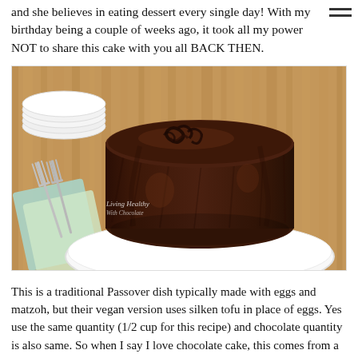and she believes in eating dessert every single day! With my birthday being a couple of weeks ago, it took all my power NOT to share this cake with you all BACK THEN.
[Figure (photo): A large chocolate-frosted layer cake on a white plate, placed on a wooden surface with stacked white plates in the background, silver forks and a light blue/green napkin in the foreground. A watermark reads 'Living Healthy With Chocolate'.]
This is a traditional Passover dish typically made with eggs and matzoh, but their vegan version uses silken tofu in place of eggs. Yes use the same quantity (1/2 cup for this recipe) and chocolate quantity is also same. So when I say I love chocolate cake, this comes from a place of childhood sugar gluttony.